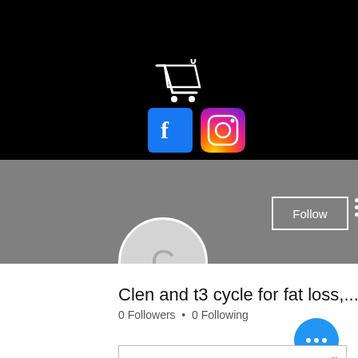[Figure (screenshot): Black banner with shopping cart icon showing 0 items, and social media icons (Facebook and Instagram) below]
[Figure (screenshot): Gray banner section with a Follow button and three-dot menu, profile avatar circle with letter C]
Clen and t3 cycle for fat loss,...
0 Followers • 0 Following
[Figure (screenshot): Blue floating action button with three dots, and bottom content box with chevron]